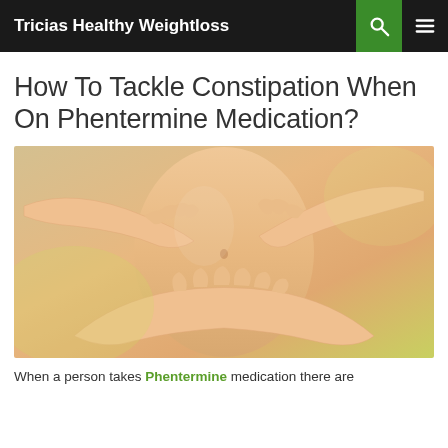Tricias Healthy Weightloss
How To Tackle Constipation When On Phentermine Medication?
[Figure (photo): A woman's midsection with hands forming a heart/cradle shape around the abdomen area, suggesting digestive health.]
When a person takes Phentermine medication there are